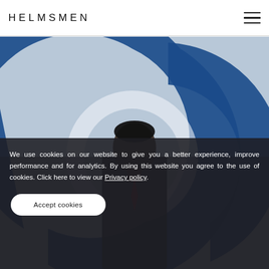HELMSMEN
[Figure (photo): A person standing in front of a large blue circular logo/sign. The logo has rounded shapes forming letters. Background is light and the person is wearing a dark suit.]
We use cookies on our website to give you a better experience, improve performance and for analytics. By using this website you agree to the use of cookies. Click here to view our Privacy policy.
Accept cookies